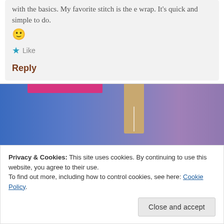with the basics. My favorite stitch is the e wrap. It's quick and simple to do.
🙂
★ Like
Reply
[Figure (illustration): Partially visible banner/book illustration with blue-to-purple gradient background, a pink horizontal bar at top, and a tan bookmark shape in the center]
Privacy & Cookies: This site uses cookies. By continuing to use this website, you agree to their use.
To find out more, including how to control cookies, see here: Cookie Policy.
Close and accept